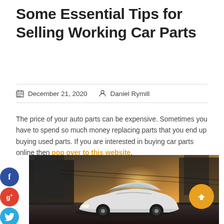Some Essential Tips for Selling Working Car Parts
December 21, 2020   Daniel Rymill
The price of your auto parts can be expensive. Sometimes you have to spend so much money replacing parts that you end up buying used parts. If you are interested in buying car parts online then pop over to this website.
[Figure (photo): A white sports car (Corvette-style) photographed in a dramatic industrial setting with warm sunset lighting in the background.]